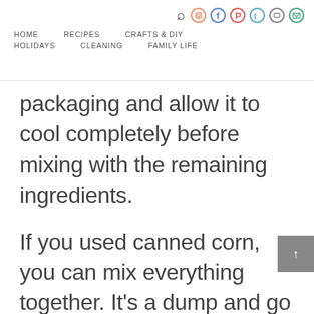HOME   RECIPES   CRAFTS & DIY   HOLIDAYS   CLEANING   FAMILY LIFE
packaging and allow it to cool completely before mixing with the remaining ingredients.
If you used canned corn, you can mix everything together. It’s a dump and go recipe which makes it even more convenient!
Use a whisk to mix together the